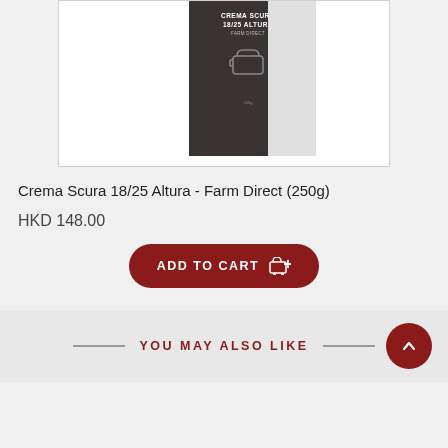[Figure (photo): Product image of Crema Scura 18/25 Altura coffee bag shown in a white product card area]
Crema Scura 18/25 Altura - Farm Direct (250g)
HKD 148.00
ADD TO CART
YOU MAY ALSO LIKE